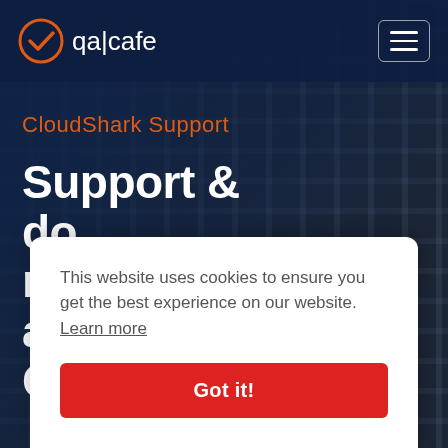[Figure (screenshot): qa|cafe logo with orange checkmark icon in header navigation bar]
qa|cafe
CloudShark Support
Support & do re ac Cl
This website uses cookies to ensure you get the best experience on our website. Learn more
Got it!